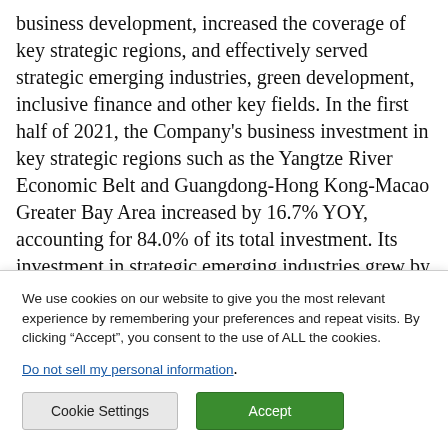business development, increased the coverage of key strategic regions, and effectively served strategic emerging industries, green development, inclusive finance and other key fields. In the first half of 2021, the Company's business investment in key strategic regions such as the Yangtze River Economic Belt and Guangdong-Hong Kong-Macao Greater Bay Area increased by 16.7% YOY, accounting for 84.0% of its total investment. Its investment in strategic emerging industries grew by 15.8% YOY
We use cookies on our website to give you the most relevant experience by remembering your preferences and repeat visits. By clicking "Accept", you consent to the use of ALL the cookies.
Do not sell my personal information.